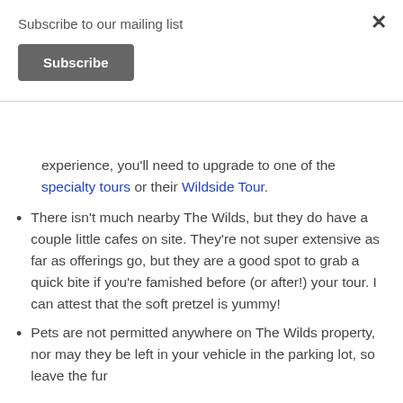Subscribe to our mailing list
Subscribe
experience, you'll need to upgrade to one of the specialty tours or their Wildside Tour.
There isn't much nearby The Wilds, but they do have a couple little cafes on site. They're not super extensive as far as offerings go, but they are a good spot to grab a quick bite if you're famished before (or after!) your tour. I can attest that the soft pretzel is yummy!
Pets are not permitted anywhere on The Wilds property, nor may they be left in your vehicle in the parking lot, so leave the fur